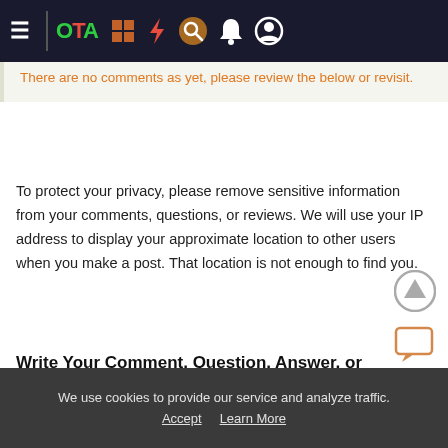OTA navigation bar with hamburger menu, logo, and icons
There are no comments as yet, please review the below or revisit.
To protect your privacy, please remove sensitive information from your comments, questions, or reviews. We will use your IP address to display your approximate location to other users when you make a post. That location is not enough to find you.
Write Your Comment, Question, Answer, or Review
We use cookies to provide our service and analyze traffic. Accept  Learn More